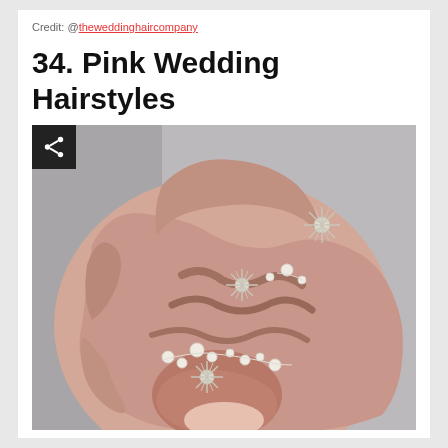Credit: @theweddinghaircompany
34. Pink Wedding Hairstyles
[Figure (photo): Back view of a woman's pink/blonde wedding updo hairstyle decorated with pearl pins and starburst/snowflake hair accessories. Hair is styled in a loose, wavy updo with braided elements.]